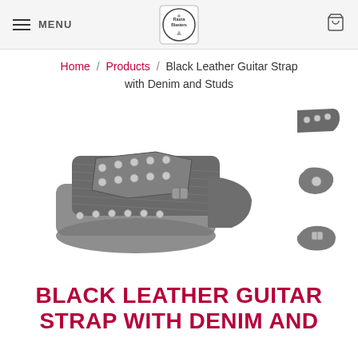MENU [logo: Rasta Blasters] [cart icon] 0
Home / Products / Black Leather Guitar Strap with Denim and Studs
[Figure (photo): A black leather guitar strap with denim and metallic studs, folded and rolled, shown from the side. Also shows four small thumbnail images of close-up details of the strap ends and hardware.]
BLACK LEATHER GUITAR STRAP WITH DENIM AND